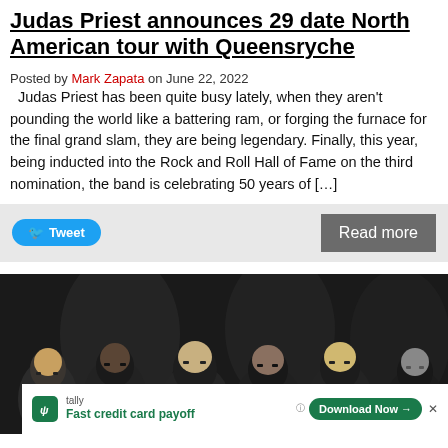Judas Priest announces 29 date North American tour with Queensryche
Posted by Mark Zapata on June 22, 2022
Judas Priest has been quite busy lately, when they aren't pounding the world like a battering ram, or forging the furnace for the final grand slam, they are being legendary. Finally, this year, being inducted into the Rock and Roll Hall of Fame on the third nomination, the band is celebrating 50 years of […]
[Figure (photo): Band photo of five musicians standing together in dark clothing with sunglasses against a dark background]
[Figure (infographic): Advertisement for Tally app - Fast credit card payoff with Download Now button]